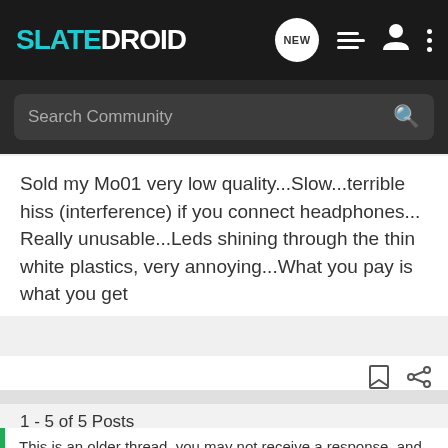SLATEDROID
Sold my Mo01 very low quality...Slow...terrible hiss (interference) if you connect headphones... Really unusable...Leds shining through the thin white plastics, very annoying...What you pay is what you get
1 - 5 of 5 Posts
This is an older thread, you may not receive a response, and could be reviving an old thread. Please consider creating a new thread.